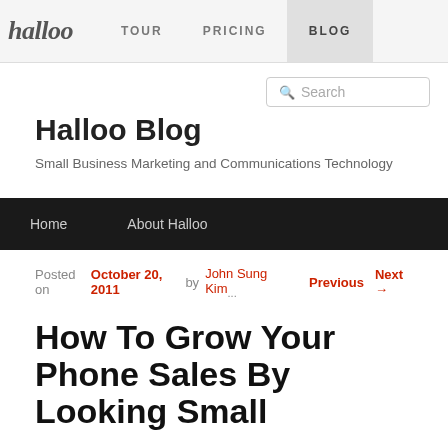halloo  TOUR  PRICING  BLOG
Search
Halloo Blog
Small Business Marketing and Communications Technology
Home  About Halloo
Posted on October 20, 2011 by John Sung Kim...  Previous  Next →
How To Grow Your Phone Sales By Looking Small